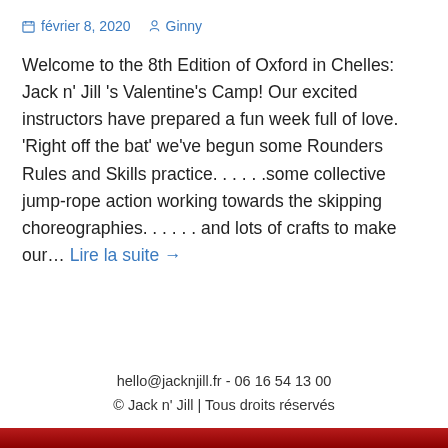février 8, 2020  Ginny
Welcome to the 8th Edition of Oxford in Chelles: Jack n' Jill 's Valentine's Camp! Our excited instructors have prepared a fun week full of love. 'Right off the bat' we've begun some Rounders Rules and Skills practice……some collective jump-rope action working towards the skipping choreographies…… and lots of crafts to make our… Lire la suite →
hello@jacknjill.fr - 06 16 54 13 00
© Jack n' Jill | Tous droits réservés